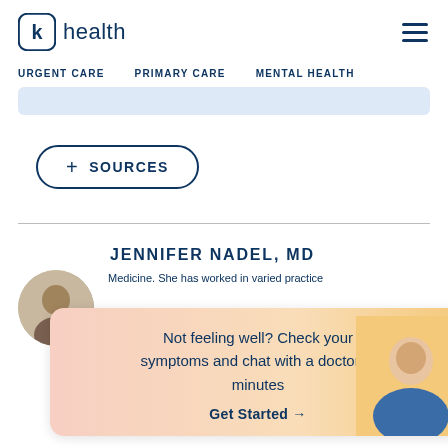k health — navigation header with hamburger menu
URGENT CARE  PRIMARY CARE  MENTAL HEALTH
[Figure (other): Light blue content bar / search area]
+ SOURCES
JENNIFER NADEL, MD
Medicine. She has worked in varied practice
[Figure (other): Popup overlay: Not feeling well? Check your symptoms and chat with a doctor in minutes. Get Started →. Doctor photo on right.]